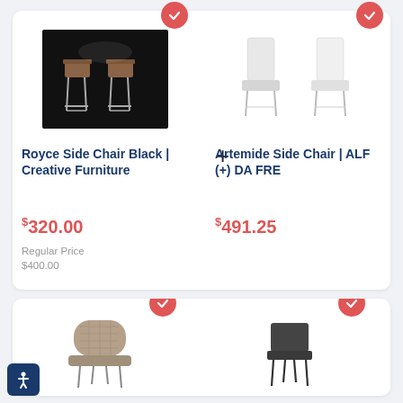[Figure (photo): Two dark wood bar stools on black background - Royce Side Chair]
Royce Side Chair Black | Creative Furniture
$320.00
Regular Price $400.00
[Figure (photo): Two white/grey dining chairs on white background - Artemide Side Chair]
Artemide Side Chair | ALF (+) DA FRE
$491.25
[Figure (photo): Taupe quilted dining chair on white background]
[Figure (photo): Dark grey side chair on white background]